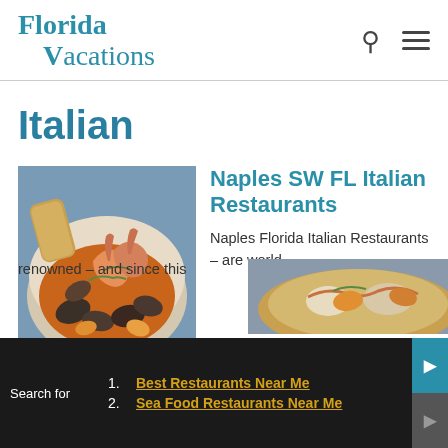Florida Vacations
Italian
[Figure (photo): Plate of Italian seafood pasta with shrimp, mussels and clams]
Naples SW FL Italian Restaurants
Naples Florida Italian Restaurants – are world renowned – and since this
[Figure (photo): Italian food dish close-up]
Search for
1. Best Restaurants Near Me
2. Sea Food Restaurants Near Me